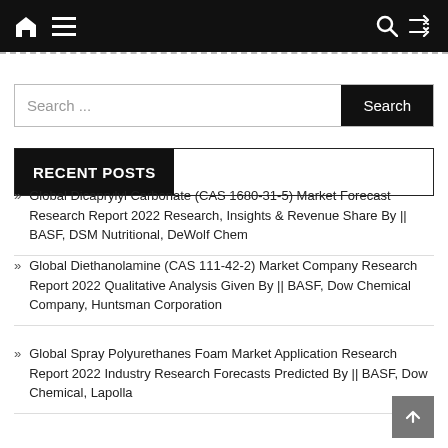Navigation bar with home, menu, search, and shuffle icons
Global Dicaprylyl Carbonate (CAS 1680-31-5) Market Forecast Research Report 2022 Research, Insights & Revenue Share By || BASF, DSM Nutritional, DeWolf Chem
Global Diethanolamine (CAS 111-42-2) Market Company Research Report 2022 Qualitative Analysis Given By || BASF, Dow Chemical Company, Huntsman Corporation
Global Spray Polyurethanes Foam Market Application Research Report 2022 Industry Research Forecasts Predicted By || BASF, Dow Chemical, Lapolla